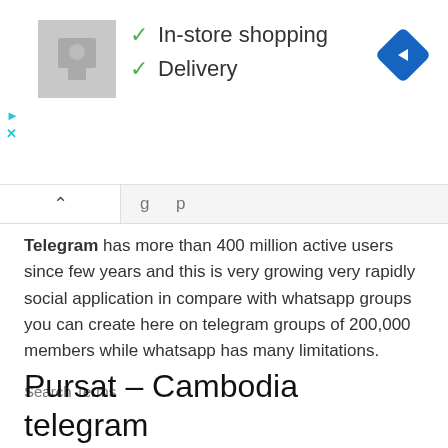[Figure (other): Advertisement banner with a grayscale product image on the left, two green checkmark items 'In-store shopping' and 'Delivery' in the middle, a blue diamond navigation icon on the right, and small cyan play/close icons on the far left.]
Telegram has more than 400 million active users since few years and this is very growing very rapidly social application in compare with whatsapp groups you can create here on telegram groups of 200,000 members while whatsapp has many limitations.
Search Terms
Pursat – Cambodia telegram